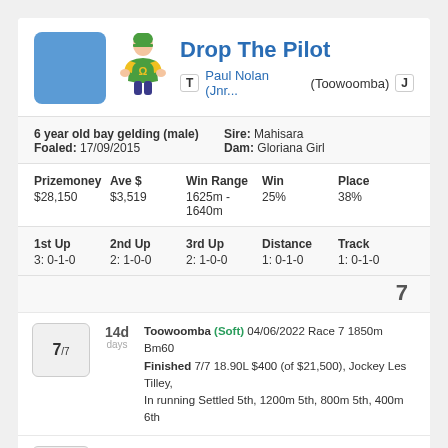Drop The Pilot
T Paul Nolan (Jnr... (Toowoomba) J
6 year old bay gelding (male)
Foaled: 17/09/2015
Sire: Mahisara
Dam: Gloriana Girl
| Prizemoney | Ave $ | Win Range | Win | Place |
| --- | --- | --- | --- | --- |
| $28,150 | $3,519 | 1625m - 1640m | 25% | 38% |
| 1st Up | 2nd Up | 3rd Up | Distance | Track |
| --- | --- | --- | --- | --- |
| 3: 0-1-0 | 2: 1-0-0 | 2: 1-0-0 | 1: 0-1-0 | 1: 0-1-0 |
7
7/7 14d days
Toowoomba (Soft) 04/06/2022 Race 7 1850m Bm60
Finished 7/7 18.90L $400 (of $21,500), Jockey Les Tilley,
In running Settled 5th, 1200m 5th, 800m 5th, 400m 6th
31 Toowoomba (Heavy) 21/05/2022 Race 1 1850m BM60